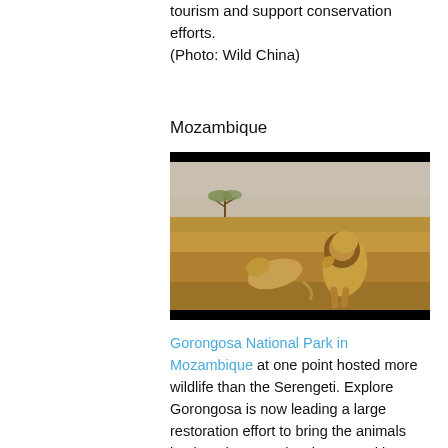tourism and support conservation efforts. (Photo: Wild China)
Mozambique
[Figure (photo): Two lions — a male with a mane and a female — interacting/fighting on open dry savanna grassland with a lone acacia tree in the misty background. Gorongosa National Park, Mozambique.]
Gorongosa National Park in Mozambique at one point hosted more wildlife than the Serengeti. Explore Gorongosa is now leading a large restoration effort to bring the animals back and support local communities through ecotourism. With Reefs to Rockies, you both explore this park and see marine wildlife like whale sharks,